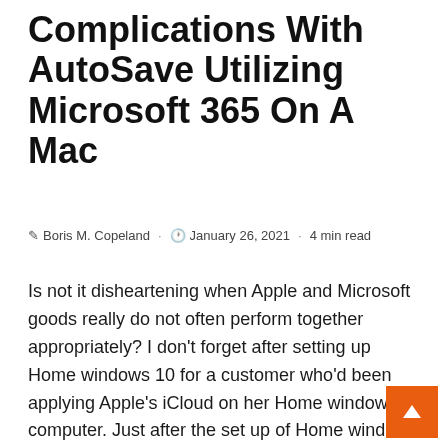Complications With AutoSave Utilizing Microsoft 365 On A Mac
✎ Boris M. Copeland  ·  🕐 January 26, 2021  ·  4 min read
Is not it disheartening when Apple and Microsoft goods really do not often perform together appropriately? I don't forget after setting up Home windows 10 for a customer who'd been applying Apple's iCloud on her Home windows computer. Just after the set up of Home windows 10, it turned out that it was not probable to reinstall iCloud as, at that ti iCloud wasn't appropriate with the most up-to-dat Windows 10 release.